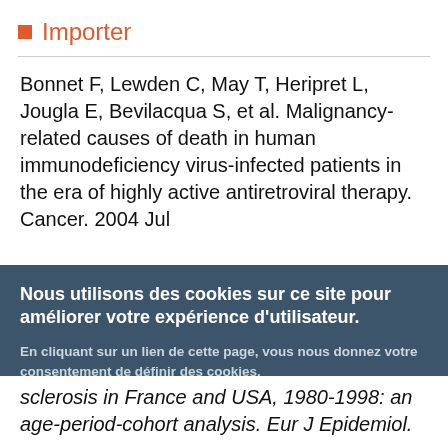Importer
Bonnet F, Lewden C, May T, Heripret L, Jougla E, Bevilacqua S, et al. Malignancy-related causes of death in human immunodeficiency virus-infected patients in the era of highly active antiretroviral therapy. Cancer. 2004 Jul
Nous utilisons des cookies sur ce site pour améliorer votre expérience d'utilisateur.
En cliquant sur un lien de cette page, vous nous donnez votre consentement de définir des cookies.
sclerosis in France and USA, 1980-1998: an age-period-cohort analysis. Eur J Epidemiol.